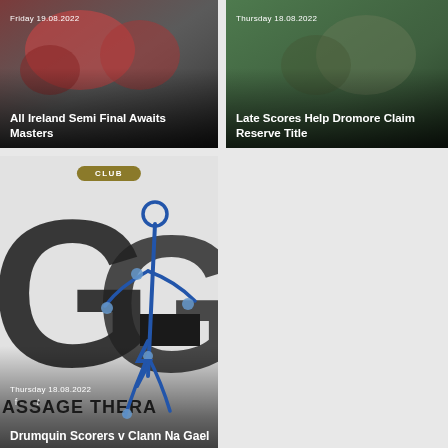[Figure (photo): Sports team photo with players in red and white jerseys, dark overlay at bottom with date and headline text]
Friday 19.08.2022
All Ireland Semi Final Awaits Masters
[Figure (photo): Sports player photo with green background, dark overlay at bottom right with date and headline text]
Thursday 18.08.2022
Late Scores Help Dromore Claim Reserve Title
[Figure (logo): Massage therapy logo showing a stylized human figure in blue with GG letters in black, club badge in gold at top, social media icons at bottom left, text MASSAGE THERA at bottom]
Thursday 18.08.2022
Drumquin Scorers v Clann Na Gael